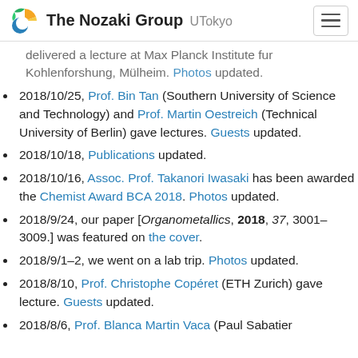The Nozaki Group UTokyo
delivered a lecture at Max Planck Institute fur Kohlenforshung, Mülheim. Photos updated.
2018/10/25, Prof. Bin Tan (Southern University of Science and Technology) and Prof. Martin Oestreich (Technical University of Berlin) gave lectures. Guests updated.
2018/10/18, Publications updated.
2018/10/16, Assoc. Prof. Takanori Iwasaki has been awarded the Chemist Award BCA 2018. Photos updated.
2018/9/24, our paper [Organometallics, 2018, 37, 3001–3009.] was featured on the cover.
2018/9/1–2, we went on a lab trip. Photos updated.
2018/8/10, Prof. Christophe Copéret (ETH Zurich) gave lecture. Guests updated.
2018/8/6, Prof. Blanca Martin Vaca (Paul Sabatier